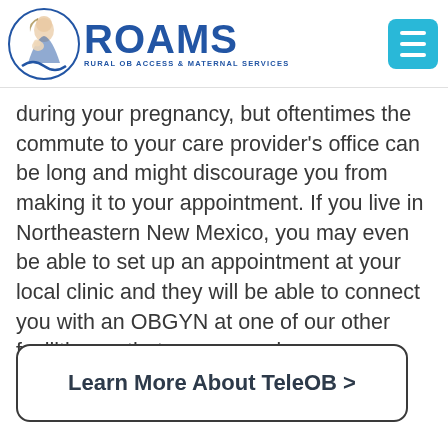ROAMS — Rural OB Access & Maternal Services
during your pregnancy, but oftentimes the commute to your care provider's office can be long and might discourage you from making it to your appointment. If you live in Northeastern New Mexico, you may even be able to set up an appointment at your local clinic and they will be able to connect you with an OBGYN at one of our other facilities so that you can reduce your commute time.
Learn More About TeleOB >